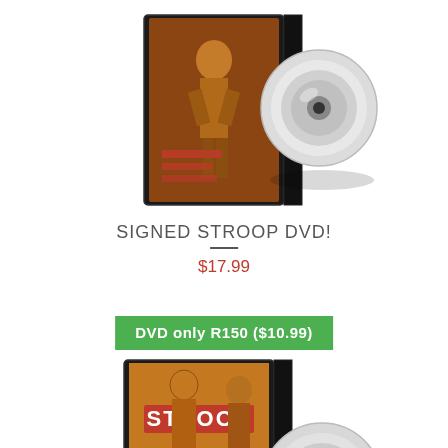[Figure (illustration): DVD case with disc - signed Stroop DVD product image, top]
SIGNED STROOP DVD!
$17.99
DVD only R150 ($10.99)
[Figure (illustration): DVD case showing STROOP title with disc - second product image, bottom]